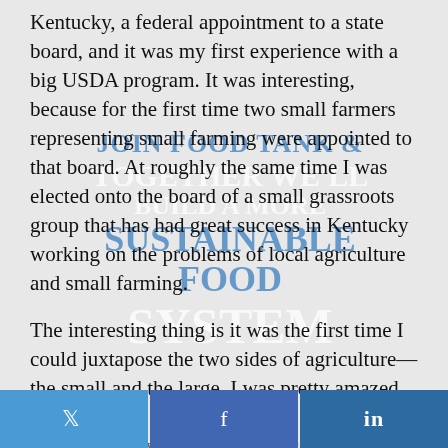Kentucky, a federal appointment to a state board, and it was my first experience with a big USDA program. It was interesting, because for the first time two small farmers representing small farming were appointed to that board. At roughly the same time I was elected onto the board of a small grassroots group that has had great success in Kentucky working on the problems of local agriculture and small farming.
[Figure (infographic): Semi-transparent overlay image showing food/produce with text: JOIN FOOD TANK & TOGETHER WE'LL BUILD A MORE SUSTAINABLE FOOD SYSTEM]
The interesting thing is it was the first time I could juxtapose the two sides of agriculture—the small and the large. I was pretty amazed at
Twitter share | Facebook share | LinkedIn share